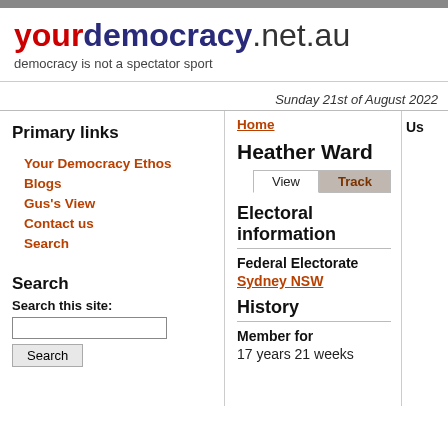yourdemocracy.net.au
democracy is not a spectator sport
Sunday 21st of August 2022
Home
Primary links
Your Democracy Ethos
Blogs
Gus's View
Contact us
Search
Search
Search this site:
Heather Ward
View  Track
Electoral information
Federal Electorate
Sydney NSW
History
Member for
17 years 21 weeks